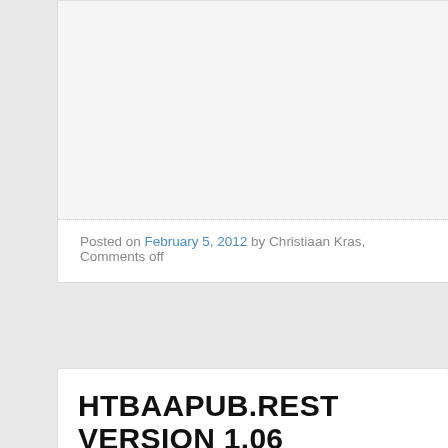Posted on February 5, 2012 by Christiaan Kras, Comments off
HTBAAPUB.REST VERSION 1.06
I've released a new version of htbaapub.rest which contains a fix that no
When doing a HEAD request the server is supposed to return the same headers. This also includes the Content-Length header. cURL however complain read and generates a CURLE_PARTIAL_FILE (18) error.
Htbaapub.rest would simply throw an exception when cURL generated a So all HEAD requests which generate the CURLE_PARTIAL_FILE (18)
This was fixed in version 1.05 but shortly after that I released 1.06 which